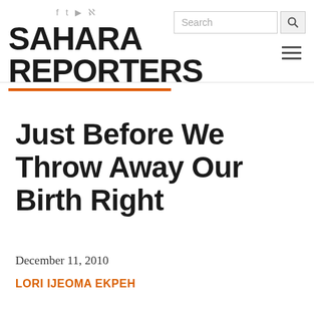SAHARA REPORTERS
Just Before We Throw Away Our Birth Right
December 11, 2010
LORI IJEOMA EKPEH